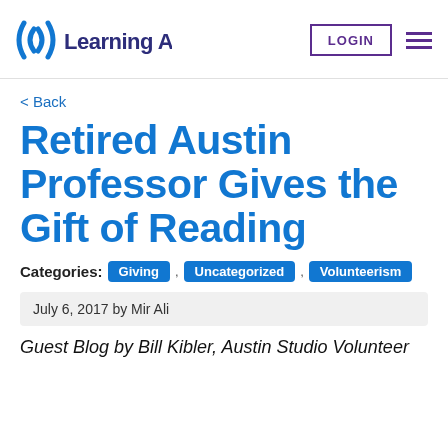Learning Ally. LOGIN
< Back
Retired Austin Professor Gives the Gift of Reading
Categories: Giving , Uncategorized , Volunteerism
July 6, 2017 by Mir Ali
Guest Blog by Bill Kibler, Austin Studio Volunteer